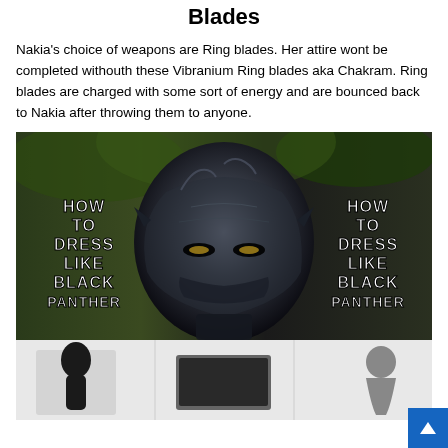Blades
Nakia's choice of weapons are Ring blades. Her attire wont be completed withouth these Vibranium Ring blades aka Chakram. Ring blades are charged with some sort of energy and are bounced back to Nakia after throwing them to anyone.
[Figure (photo): Black Panther helmet/mask photo with overlaid bold white text reading 'HOW TO DRESS LIKE BLACK PANTHER' on both the left and right sides of the image.]
[Figure (photo): Bottom portion of a second image showing Black Panther costume items, partially cut off at page bottom.]